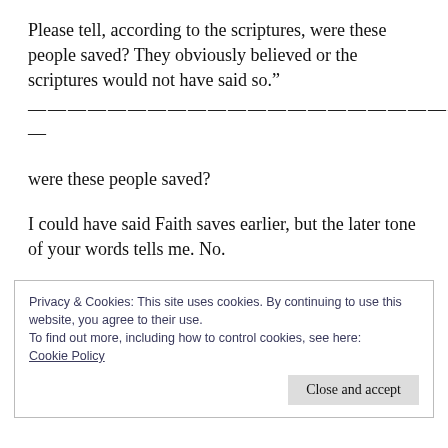Please tell, according to the scriptures, were these people saved? They obviously believed or the scriptures would not have said so.”
—————————————————————————————————
were these people saved?
I could have said Faith saves earlier, but the later tone of your words tells me. No.
Privacy & Cookies: This site uses cookies. By continuing to use this website, you agree to their use.
To find out more, including how to control cookies, see here: Cookie Policy
Close and accept